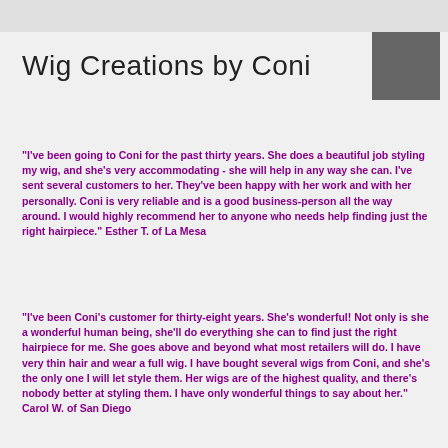Wig Creations by Coni
[Figure (other): Gray square logo/image placeholder in top right corner]
"I've been going to Coni for the past thirty years. She does a beautiful job styling my wig, and she's very accommodating - she will help in any way she can. I've sent several customers to her. They've been happy with her work and with her personally. Coni is very reliable and is a good business-person all the way around. I would highly recommend her to anyone who needs help finding just the right hairpiece." Esther T. of La Mesa
"I've been Coni's customer for thirty-eight years. She's wonderful! Not only is she a wonderful human being, she'll do everything she can to find just the right hairpiece for me. She goes above and beyond what most retailers will do. I have very thin hair and wear a full wig. I have bought several wigs from Coni, and she's the only one I will let style them. Her wigs are of the highest quality, and there's nobody better at styling them. I have only wonderful things to say about her." Carol W. of San Diego